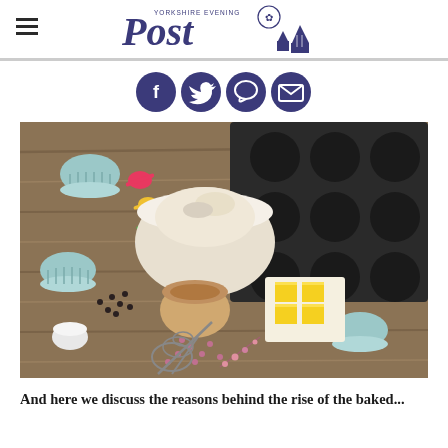[Figure (logo): Yorkshire Evening Post masthead logo with decorative crest elements in dark navy/purple]
[Figure (infographic): Four social media share icons in dark navy/purple circles: Facebook (f), Twitter (bird), WhatsApp (chat bubble), Email (envelope)]
[Figure (photo): Overhead flat-lay photo of baking ingredients and tools on a rustic wooden surface: colorful measuring spoons, cupcake liners, a bowl of flour, a bowl of brown sugar, butter cubes on parchment, peppercorns, dried berries, a whisk, and a dark non-stick muffin tin]
And here we discuss the reasons behind the rise of the baked...